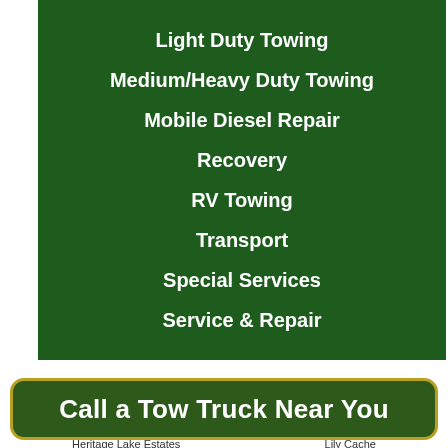Light Duty Towing
Medium/Heavy Duty Towing
Mobile Diesel Repair
Recovery
RV Towing
Transport
Special Services
Service & Repair
24 Hour Service A...
Call a Tow Truck Near You
Heritage Lake Estates   Lily Cache